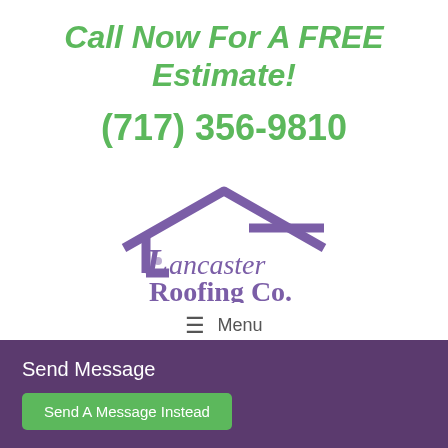Call Now For A FREE Estimate!
(717) 356-9810
[Figure (logo): Lancaster Roofing Co. logo with a purple roof silhouette above stylized text reading 'Lancaster Roofing Co.']
≡ Menu
Send Message
Send A Message Instead